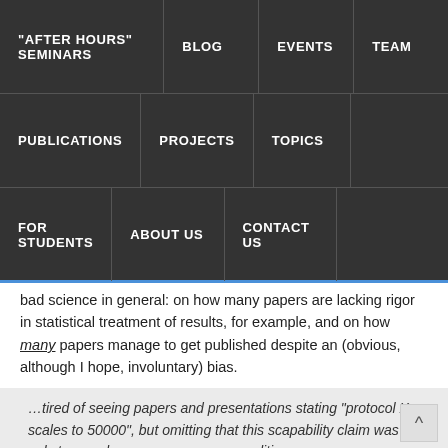"AFTER HOURS" SEMINARS | BLOG | EVENTS | TEAM | PUBLICATIONS | PROJECTS | TOPICS | FOR STUDENTS | ABOUT US | CONTACT US
bad science in general: on how many papers are lacking rigor in statistical treatment of results, for example, and on how many papers manage to get published despite an (obvious, although I hope, involuntary) bias.
These discussions made me think of a conversation I had with David B. Johnson of Rice University, many many years back, in which Dave was making the throw-away comment that he was;
…tired of seeing papers and presentations stating "protocol X scales to 50000", but omitting that this scapability claim was only true under very very narrow conditions.